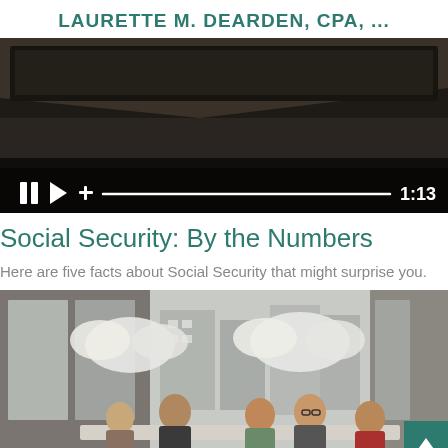LAURETTE M. DEARDEN, CPA, ...
[Figure (screenshot): Video player screenshot showing a dark interior scene with video playback controls at the bottom including pause, play, plus buttons, a progress bar, and a time display showing 1:13]
Social Security: By the Numbers
Here are five facts about Social Security that might surprise you.
[Figure (photo): Photo of people sitting around a table in a modern office space with large glass windows and decorative cloud-like light fixtures hanging from the ceiling]